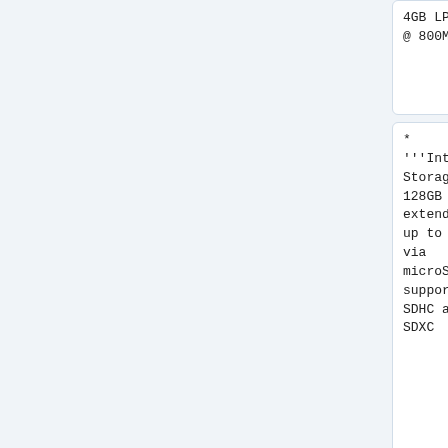| Column 1 | Column 2 |
| --- | --- |
| 4GB LPDDR4 @ 800MHz | 4GB LPDDR4 @ 800MHz |
| * '''Internal Storage:''' 128GB eMMC, extendable up to 2TB via microSD, supports SDHC and SDXC | * '''Internal Storage:''' 128GB eMMC, extendable up to 2TB via microSD, supports SDHC and SDXC |
|  | * '''NOR Flash:''' Listed as [GigaDevices] GD25LQ128EWIGR, but physical |